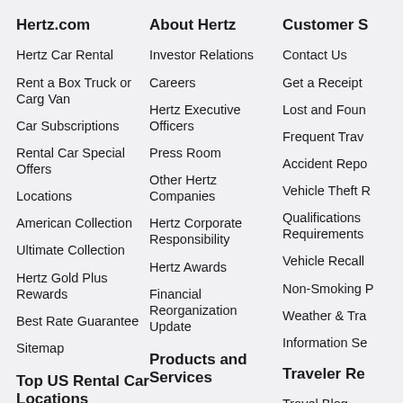Hertz.com
Hertz Car Rental
Rent a Box Truck or Carg Van
Car Subscriptions
Rental Car Special Offers
Locations
American Collection
Ultimate Collection
Hertz Gold Plus Rewards
Best Rate Guarantee
Sitemap
Top US Rental Car Locations
Los Angeles Airport
San Francisco Airport
About Hertz
Investor Relations
Careers
Hertz Executive Officers
Press Room
Other Hertz Companies
Hertz Corporate Responsibility
Hertz Awards
Financial Reorganization Update
Products and Services
Products and Services
Hertz Car Rentals
Car Rental Locations
Customer S
Contact Us
Get a Receipt
Lost and Foun
Frequent Trav
Accident Repo
Vehicle Theft R
Qualifications Requirements
Vehicle Recall
Non-Smoking P
Weather & Tra
Information Se
Traveler Re
Travel Blog
US Travel Des